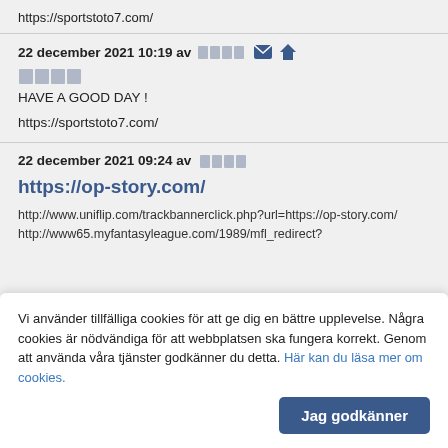https://sportstoto7.com/
22 december 2021 10:19 av [user] [envelope icon] [home icon]
[username]
HAVE A GOOD DAY !
https://sportstoto7.com/
22 december 2021 09:24 av [user]
https://op-story.com/
http://www.uniflip.com/trackbannerclick.php?url=https://op-story.com/
http://www65.myfantasyleague.com/1989/mfl redirect?
Vi använder tillfälliga cookies för att ge dig en bättre upplevelse. Några cookies är nödvändiga för att webbplatsen ska fungera korrekt. Genom att använda våra tjänster godkänner du detta. Här kan du läsa mer om cookies.
Jag godkänner